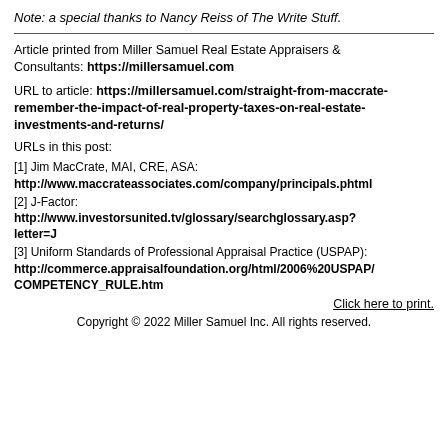Note: a special thanks to Nancy Reiss of The Write Stuff.
Article printed from Miller Samuel Real Estate Appraisers & Consultants: https://millersamuel.com
URL to article: https://millersamuel.com/straight-from-maccrate-remember-the-impact-of-real-property-taxes-on-real-estate-investments-and-returns/
URLs in this post:
[1] Jim MacCrate, MAI, CRE, ASA: http://www.maccrateassociates.com/company/principals.phtml
[2] J-Factor: http://www.investorsunited.tv/glossary/searchglossary.asp?letter=J
[3] Uniform Standards of Professional Appraisal Practice (USPAP): http://commerce.appraisalfoundation.org/html/2006%20USPAP/COMPETENCY_RULE.htm
Click here to print.
Copyright © 2022 Miller Samuel Inc. All rights reserved.